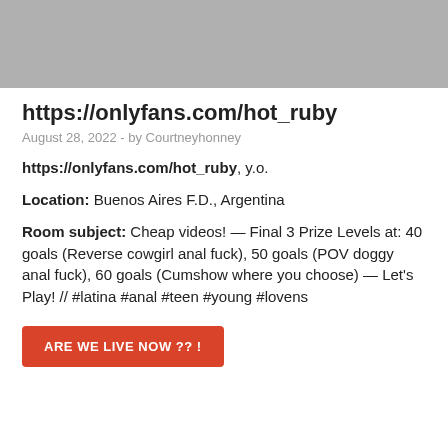[Figure (photo): Gray banner image placeholder at the top of the page]
https://onlyfans.com/hot_ruby
August 28, 2022  -  by Courtneyhonney
https://onlyfans.com/hot_ruby, y.o.
Location: Buenos Aires F.D., Argentina
Room subject: Cheap videos! — Final 3 Prize Levels at: 40 goals (Reverse cowgirl anal fuck), 50 goals (POV doggy anal fuck), 60 goals (Cumshow where you choose) — Let's Play! // #latina #anal #teen #young #lovens
ARE WE LIVE NOW ?? !